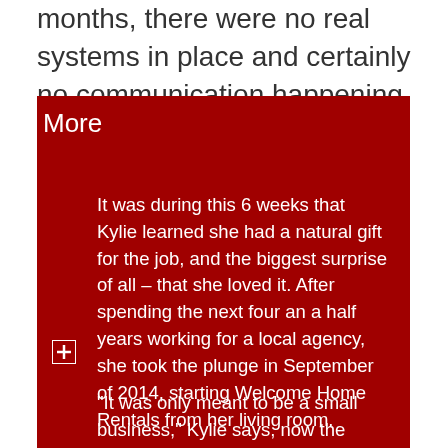months, there were no real systems in place and certainly no communication happening.
More
It was during this 6 weeks that Kylie learned she had a natural gift for the job, and the biggest surprise of all – that she loved it. After spending the next four an a half years working for a local agency, she took the plunge in September of 2014, starting Welcome Home Rentals from her living room.
“It was only meant to be a small business,” Kylie says, now the director of a team of 5